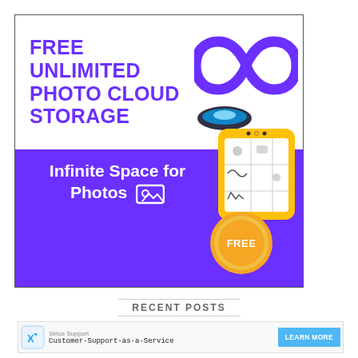[Figure (illustration): Advertisement banner for free unlimited photo cloud storage. Top white section shows bold purple text 'FREE UNLIMITED PHOTO CLOUD STORAGE' with a purple infinity symbol. Bottom purple section shows 'Infinite Space for Photos' with a photo icon, a floating blue disc, a yellow smartphone mockup with sketches, and a gold coin badge labeled 'FREE'.]
RECENT POSTS
[Figure (infographic): Sponsored ad bar: Sirius Support logo icon, text 'Sirius Support' and 'Customer-Support-as-a-Service', blue 'LEARN MORE' button on right.]